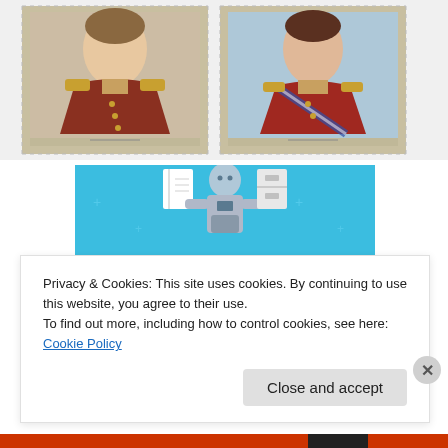[Figure (photo): Two postage stamps showing portrait paintings of military officers in historical uniforms. Left stamp shows a man in a brown/red military uniform with epaulettes. Right stamp shows a man in a red military uniform with a blue and white sash.]
[Figure (illustration): Day One journaling app advertisement banner on a light blue background. Shows a stylized illustration of a person holding a phone/device, with a notebook and device icons at the top. Text reads 'DAY ONE' and 'The only journaling app you'll ever need.']
Privacy & Cookies: This site uses cookies. By continuing to use this website, you agree to their use.
To find out more, including how to control cookies, see here: Cookie Policy
Close and accept